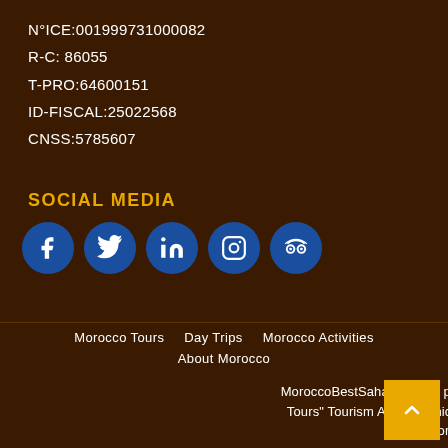N°ICE:001999731000082
R-C: 86055
T-PRO:64600151
ID-FISCAL:25022568
CNSS:5785607
SOCIAL MEDIA
[Figure (infographic): Social media icons: Facebook, Twitter, LinkedIn, Instagram, TripAdvisor — white icons on blue circles]
Morocco Tours   Day Trips   Morocco Activities
About Morocco
MoroccoBestSaharaTour is promoted by "Morocco Best Sahara Tours" Tourism Agency which is appproved by the Ministry of Transport |© 2016